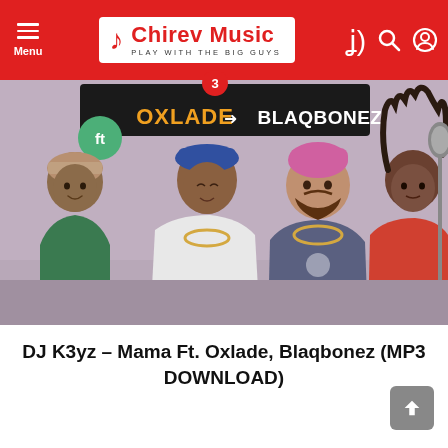Chirev Music — PLAY WITH THE BIG GUYS
[Figure (illustration): Illustrated artwork for DJ K3yz – Mama featuring Oxlade and Blaqbonez. Shows four cartoon characters in a room: a woman in a green top, a man in a white outfit with a blue hat, a bearded man in a grey top with pink hair, and a woman in a red hoodie at a microphone. Text overlay reads 'ft OXLADE + BLAQBONEZ'. A circular notification badge with the number 3 appears over the image.]
DJ K3yz – Mama Ft. Oxlade, Blaqbonez (MP3 DOWNLOAD)